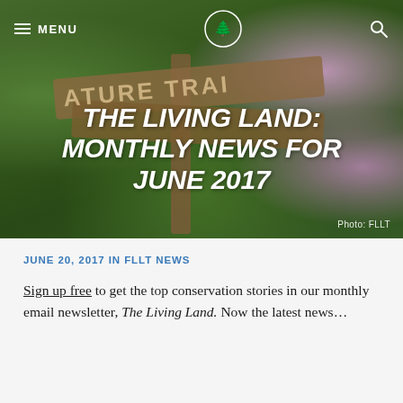[Figure (photo): Hero image of a nature trail wooden sign post with lush green foliage and purple/pink wildflowers in the background. Navigation bar overlaid with hamburger menu, MENU text, tree logo circle, and search icon.]
THE LIVING LAND: MONTHLY NEWS FOR JUNE 2017
Photo: FLLT
JUNE 20, 2017 IN FLLT NEWS
Sign up free to get the top conservation stories in our monthly email newsletter, The Living Land. Now the latest news…